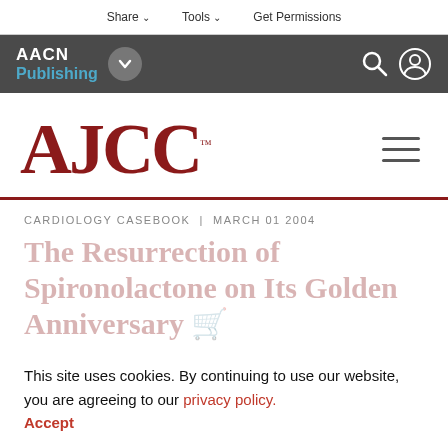Share  Tools  Get Permissions
[Figure (logo): AACN Publishing navigation bar with logo, dropdown chevron, search and user icons]
[Figure (logo): AJCC journal logo in dark red serif font with trademark symbol, and hamburger menu icon]
CARDIOLOGY CASEBOOK | MARCH 01 2004
The Resurrection of Spironolactone on Its Golden Anniversary
This site uses cookies. By continuing to use our website, you are agreeing to our privacy policy. Accept